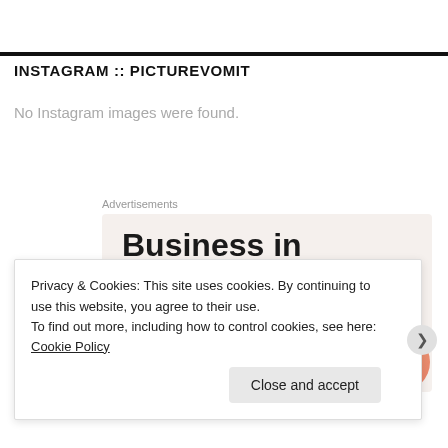INSTAGRAM :: PICTUREVOMIT
No Instagram images were found.
Advertisements
[Figure (screenshot): Advertisement banner showing 'Business in the front...' text on a light beige background with a WordPress banner below with orange/pink gradient]
Privacy & Cookies: This site uses cookies. By continuing to use this website, you agree to their use.
To find out more, including how to control cookies, see here: Cookie Policy
Close and accept